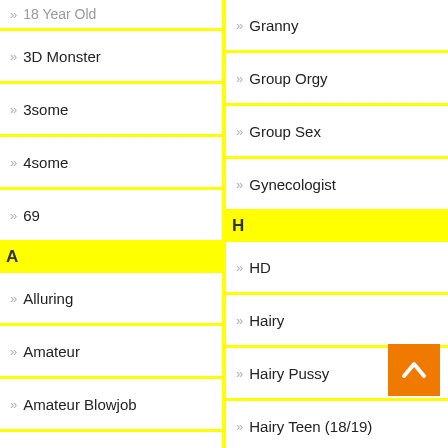3D Monster
3some
4some
69
A
Alluring
Amateur
Amateur Blowjob
Amateur In Gangbang
Granny
Group Orgy
Group Sex
Gynecologist
H
HD
Hairy
Hairy Pussy
Hairy Teen (18/19)